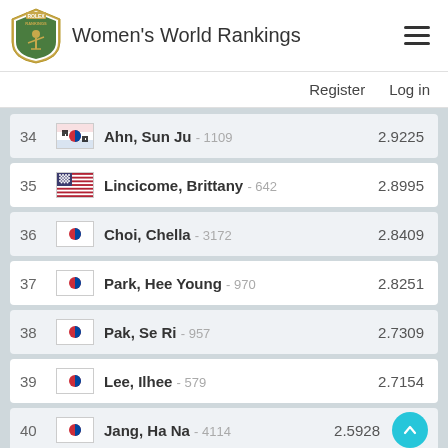Women's World Rankings
| Rank | Flag | Player | Score |
| --- | --- | --- | --- |
| 34 | KOR | Ahn, Sun Ju - 1109 | 2.9225 |
| 35 | USA | Lincicome, Brittany - 642 | 2.8995 |
| 36 | KOR | Choi, Chella - 3172 | 2.8409 |
| 37 | KOR | Park, Hee Young - 970 | 2.8251 |
| 38 | KOR | Pak, Se Ri - 957 | 2.7309 |
| 39 | KOR | Lee, Ilhee - 579 | 2.7154 |
| 40 | KOR | Jang, Ha Na - 4114 | 2.5928 |